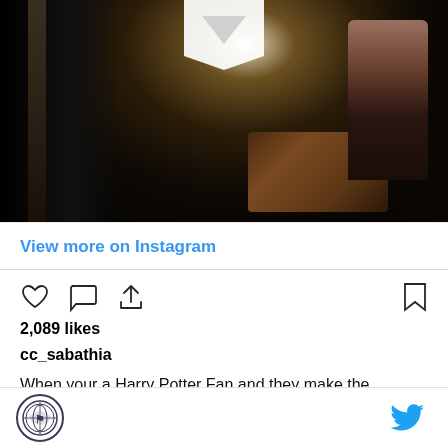[Figure (photo): Dark moody photo/video still of a dimly lit train platform or Hogwarts-like scene with luggage trunk and a figure, with a video play button overlay at top]
View more on Instagram
[Figure (illustration): Instagram action icons row: heart (like), speech bubble (comment), share arrow on left; bookmark icon on right]
2,089 likes
cc_sabathia
When your a Harry Potter Fan and they make the Gryffindor cloak in your size and you can walk thru walls!
Site logo | Twitter bird icon | Facebook f icon